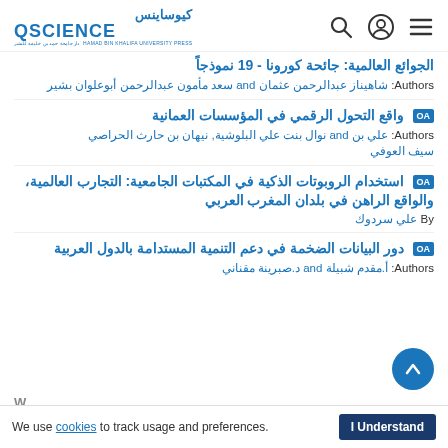كيوساينس QSCIENCE
الجوائع العالمية: جائحة كورونا - 19 نموذجاً
Authors: شاهيناز عبدالرحمن عثمان and سعد مأمون عبدالرحمن أبوعلوان بشير
OA واقع التحول الرقمي في المؤسسات العمانية
Authors: علي بن and نوال بنت علي البلوشية, نيهان بن حارث الحراصي سيف العوفي
OA استخدام الروبوتات الذكية في المكتبات الجامعية: التجارب العالمية، والواقع الراهن في بلدان المغرب العربي
By علي سردوك
OA دور البيانات الضخمة في دعم التنمية المستدامة بالدول العربية
Authors: أ.مقدم شبيلة and د.صبرينة مقناني
We use cookies to track usage and preferences. I Understand